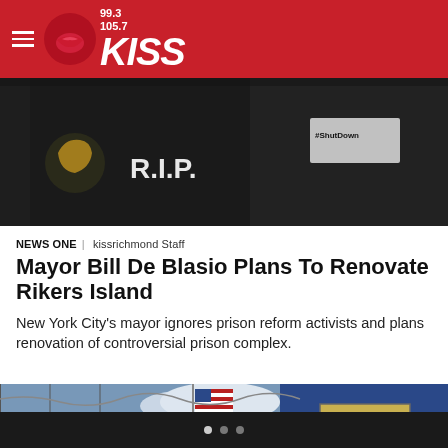99.3 / 105.7 KISS
[Figure (photo): Protest photo showing person wearing jacket with R.I.P. text and fist graphic, another person with #ShutDown sign in background]
NEWS ONE | kissrichmond Staff
Mayor Bill De Blasio Plans To Renovate Rikers Island
New York City's mayor ignores prison reform activists and plans renovation of controversial prison complex.
[Figure (photo): Photo of Rikers Island prison entrance showing chain-link fence with barbed wire, American flag, and MAIN ENTRANCE sign]
• • •